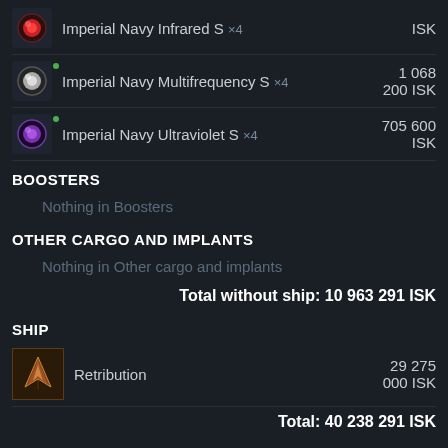Imperial Navy Infrared S x4 — ISK
Imperial Navy Multifrequency S x4 — 1 068 200 ISK
Imperial Navy Ultraviolet S x4 — 705 600 ISK
BOOSTERS
Nothing in Boosters
OTHER CARGO AND IMPLANTS
Nothing in Other cargo and implants
Total without ship: 10 963 291 ISK
SHIP
Retribution — 29 275 000 ISK
Total: 40 238 291 ISK